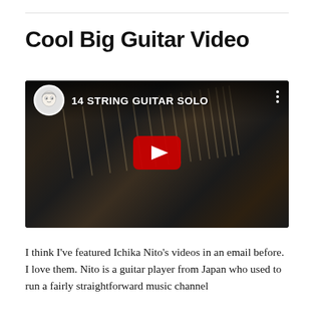Cool Big Guitar Video
[Figure (screenshot): YouTube video thumbnail showing a 14-string guitar being played. Video title reads '14 STRING GUITAR SOLO' with a channel avatar (anime-style character) on the left, three-dot menu on the right, and a red YouTube play button in the center. The background shows hands playing a multi-string electric guitar in a dark setting.]
I think I've featured Ichika Nito's videos in an email before. I love them. Nito is a guitar player from Japan who used to run a fairly straightforward music channel